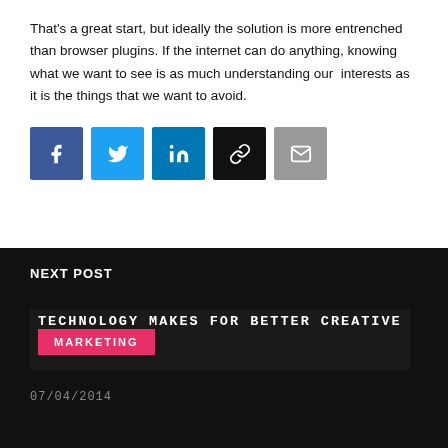That's a great start, but ideally the solution is more entrenched than browser plugins. If the internet can do anything, knowing what we want to see is as much understanding our  interests as it is the things that we want to avoid.
[Figure (infographic): Row of 5 social sharing icon buttons: Facebook (dark blue), Twitter (light blue), LinkedIn (blue), Link/chain (black), Email (gray)]
NEXT POST
TECHNOLOGY MAKES FOR BETTER CREATIVE MARKETING
07/04/2014